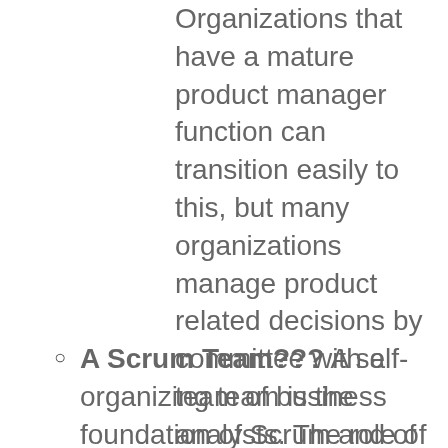Organizations that have a mature product manager function can transition easily to this, but many organizations manage product related decisions by committee with a team of business analysts. The role of a truly empowered Product Owner is difficult for many companies to swallow.
A Scrum Team??? A self-organizing team is the foundation of Scrum and of Agile in general. How many organizations